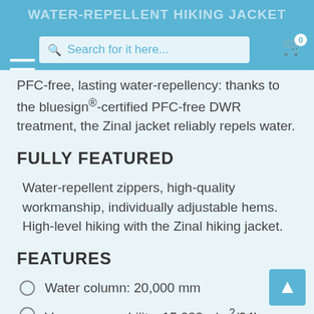WATER-REPELLENT HIKING JACKET
PFC-free, lasting water-repellency: thanks to the bluesign®-certified PFC-free DWR treatment, the Zinal jacket reliably repels water.
FULLY FEATURED
Water-repellent zippers, high-quality workmanship, individually adjustable hems. High-level hiking with the Zinal hiking jacket.
FEATURES
Water column: 20,000 mm
Vapor permeability: 15,000 g/m²/24h